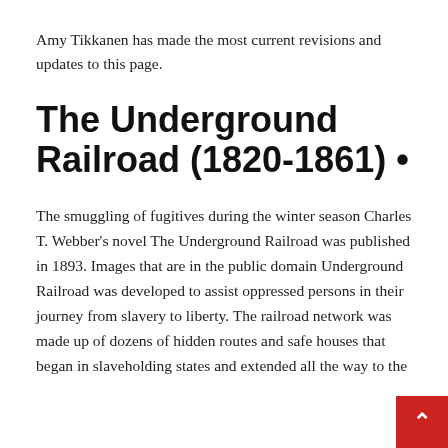Amy Tikkanen has made the most current revisions and updates to this page.
The Underground Railroad (1820-1861) •
The smuggling of fugitives during the winter season Charles T. Webber's novel The Underground Railroad was published in 1893. Images that are in the public domain Underground Railroad was developed to assist oppressed persons in their journey from slavery to liberty. The railroad network was made up of dozens of hidden routes and safe houses that began in slaveholding states and extended all the way to the